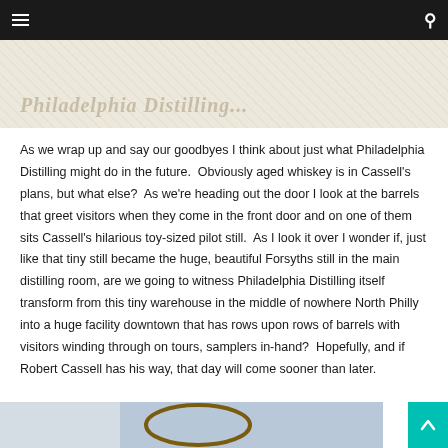Navigation bar with hamburger menu and search icon
[Figure (photo): Partial header image with diagonal hatching texture and watermark text in a cream/tan color scheme]
As we wrap up and say our goodbyes I think about just what Philadelphia Distilling might do in the future.  Obviously aged whiskey is in Cassell's plans, but what else?  As we're heading out the door I look at the barrels that greet visitors when they come in the front door and on one of them sits Cassell's hilarious toy-sized pilot still.  As I look it over I wonder if, just like that tiny still became the huge, beautiful Forsyths still in the main distilling room, are we going to witness Philadelphia Distilling itself transform from this tiny warehouse in the middle of nowhere North Philly into a huge facility downtown that has rows upon rows of barrels with visitors winding through on tours, samplers in-hand?  Hopefully, and if Robert Cassell has his way, that day will come sooner than later.
[Figure (photo): Bottom partial image showing what appears to be a framed oval portrait with blue/grey tones]